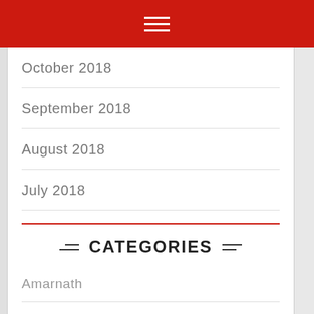October 2018
September 2018
August 2018
July 2018
CATEGORIES
Amarnath